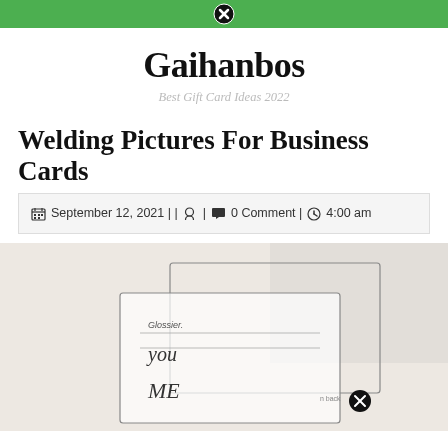Navigation bar with close button
Gaihanbos
Best Gift Card Ideas 2022
Welding Pictures For Business Cards
September 12, 2021 | | | 0 Comment | 4:00 am
[Figure (photo): A photo of handwritten business cards or notes on a light pink/beige surface, with text showing 'Glossier.' and handwritten 'you' and 'ME' visible on what appears to be a card template with rectangular outlines]